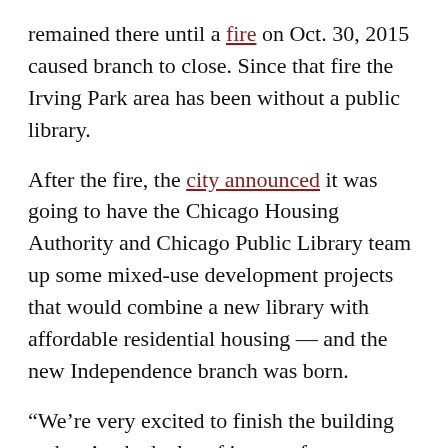remained there until a fire on Oct. 30, 2015 caused branch to close. Since that fire the Irving Park area has been without a public library.
After the fire, the city announced it was going to have the Chicago Housing Authority and Chicago Public Library team up some mixed-use development projects that would combine a new library with affordable residential housing — and the new Independence branch was born.
“We’re very excited to finish the building and we’ve had a lot of interest from prospective tenants,” Block said. “We think it’s going to be a perfect project for the area.”
To apply for the senior housing units